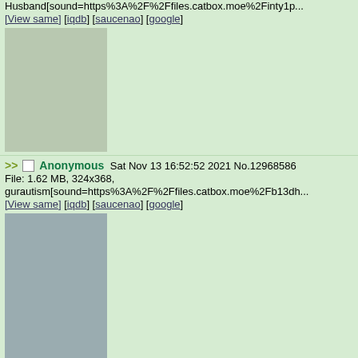Husband[sound=https%3A%2F%2Ffiles.catbox.moe%2Finty1p...
[View same] [iqdb] [saucenao] [google]
[Figure (photo): Anime character in a seal/panda costume with colorful background]
>> Anonymous Sat Nov 13 16:52:52 2021 No.12968586
File: 1.62 MB, 324x368,
gurautism[sound=https%3A%2F%2Ffiles.catbox.moe%2Fb13dh...
[View same] [iqdb] [saucenao] [google]
[Figure (photo): Anime girl with white/silver hair and blue eyes, portrait style]
>> Anonymous Sat Nov 13 17:52:16 2021 No.12970055
File: 258 KB, 2746x1259,
seeg[sound=https%3A%2F%2Ffiles.catbox.moe%2F7x9mht.mp...
[View same] [iqdb] [saucenao] [google]
[Figure (photo): Anime character with blue hair]
>>12932405